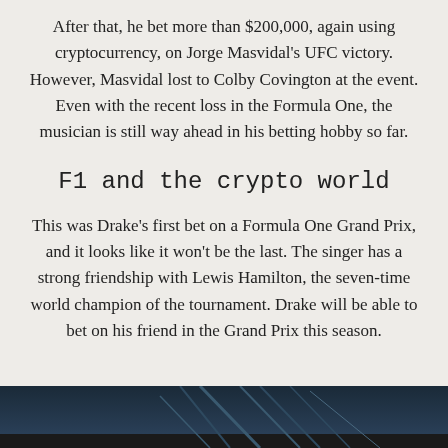After that, he bet more than $200,000, again using cryptocurrency, on Jorge Masvidal's UFC victory. However, Masvidal lost to Colby Covington at the event. Even with the recent loss in the Formula One, the musician is still way ahead in his betting hobby so far.
F1 and the crypto world
This was Drake's first bet on a Formula One Grand Prix, and it looks like it won't be the last. The singer has a strong friendship with Lewis Hamilton, the seven-time world champion of the tournament. Drake will be able to bet on his friend in the Grand Prix this season.
[Figure (photo): A dark photo showing what appears to be a Formula One race car or racing-related imagery with metallic/industrial elements visible at the bottom of the page.]